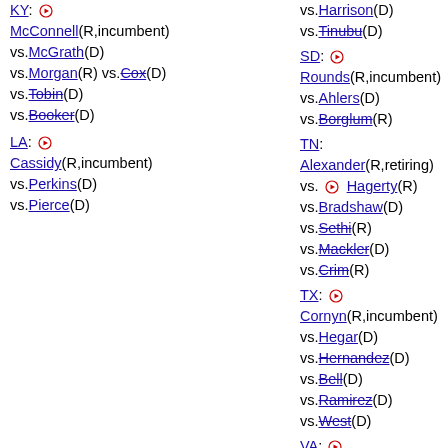KY: [play] McConnell(R,incumbent) vs.McGrath(D) vs.Morgan(R) vs.Cox(D) vs.Tobin(D) vs.Booker(D)
LA: [play] Cassidy(R,incumbent) vs.Perkins(D) vs.Pierce(D)
vs.Harrison(D) vs.Tinubu(D)
SD: [play] Rounds(R,incumbent) vs.Ahlers(D) vs.Borglum(R)
TN: Alexander(R,retiring) vs. [play] Hagerty(R) vs.Bradshaw(D) vs.Sethi(R) vs.Mackler(D) vs.Crim(R)
TX: [play] Cornyn(R,incumbent) vs.Hegar(D) vs.Hernandez(D) vs.Bell(D) vs.Ramirez(D) vs.West(D)
VA: [play] Warner(D,incumbent) vs.Taylor(R) vs.Gade(R)
WV: [play] Capito(R,incumbent) vs.Swearengin(D) vs.Ojeda(D)
WY: Enzi(R,retiring)